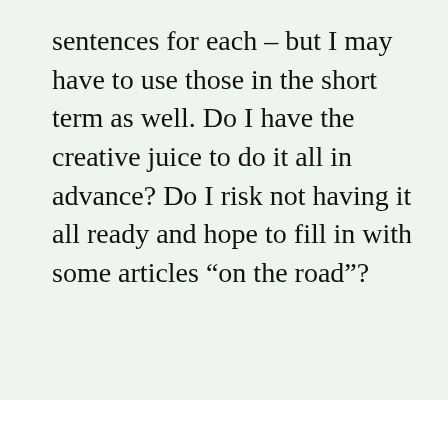sentences for each – but I may have to use those in the short term as well. Do I have the creative juice to do it all in advance? Do I risk not having it all ready and hope to fill in with some articles “on the road”?